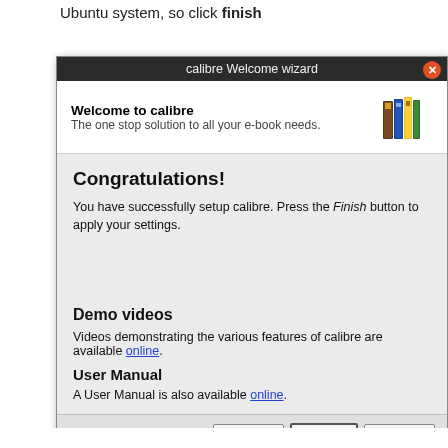Ubuntu system, so click finish
[Figure (screenshot): calibre Welcome wizard dialog showing Congratulations message with Demo videos and User Manual sections and Back, Finish, Cancel buttons]